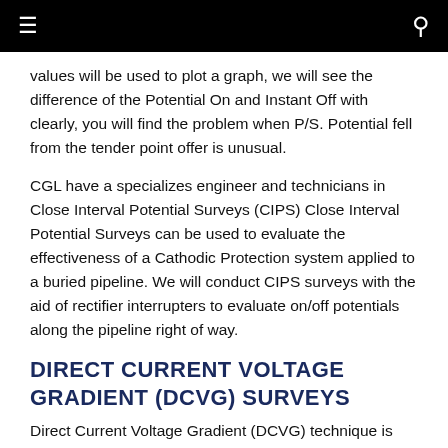≡  [navigation bar]  🔍
values will be used to plot a graph, we will see the difference of the Potential On and Instant Off with clearly, you will find the problem when P/S. Potential fell from the tender point offer is unusual.
CGL have a specializes engineer and technicians in Close Interval Potential Surveys (CIPS) Close Interval Potential Surveys can be used to evaluate the effectiveness of a Cathodic Protection system applied to a buried pipeline. We will conduct CIPS surveys with the aid of rectifier interrupters to evaluate on/off potentials along the pipeline right of way.
DIRECT CURRENT VOLTAGE GRADIENT (DCVG) SURVEYS
Direct Current Voltage Gradient (DCVG) technique is